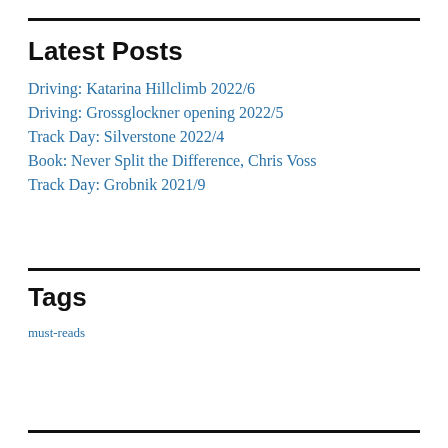Latest Posts
Driving: Katarina Hillclimb 2022/6
Driving: Grossglockner opening 2022/5
Track Day: Silverstone 2022/4
Book: Never Split the Difference, Chris Voss
Track Day: Grobnik 2021/9
Tags
must-reads